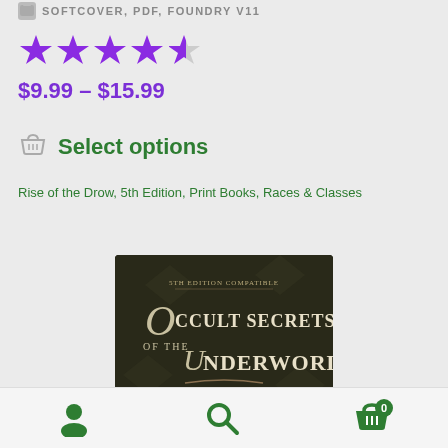SOFTCOVER, PDF, FOUNDRY V11
[Figure (other): 4.5 star rating display with gold/yellow stars]
$9.99 – $15.99
Select options
Rise of the Drow, 5th Edition, Print Books, Races & Classes
[Figure (illustration): Book cover for Occult Secrets of the Underworld, 5th Edition Compatible, dark stone background with glowing ring]
User icon, Search icon, Cart icon with badge 0